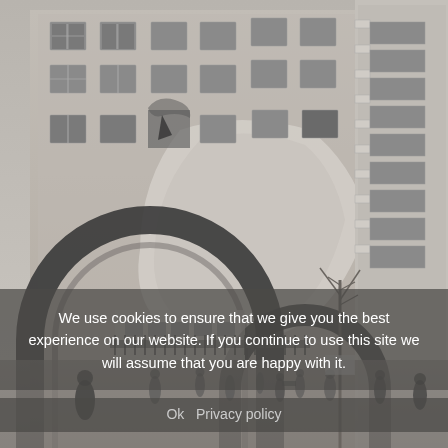[Figure (photo): Black and white historical photograph showing a damaged apartment building with broken windows and crumbling plaster. Large stone arches are visible in the foreground, with groups of people walking around the courtyard. A bare tree and modern balconied building section are visible on the right side.]
We use cookies to ensure that we give you the best experience on our website. If you continue to use this site we will assume that you are happy with it.
Ok   Privacy policy